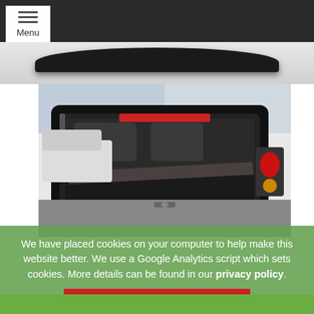[Figure (screenshot): Top navigation bar with dark background and white Menu button with hamburger icon]
[Figure (photo): Close-up of a black car spoiler/rear wing strip on light background]
[Figure (photo): Open car boot/trunk showing interior, rear seats folded, black boot liner, and rear lights visible on white small car parked in car park]
We have placed cookies on your computer to help make this website better. We use a Google Analytics script which sets cookies. More details can be found in our privacy policy.
Do not show this message again